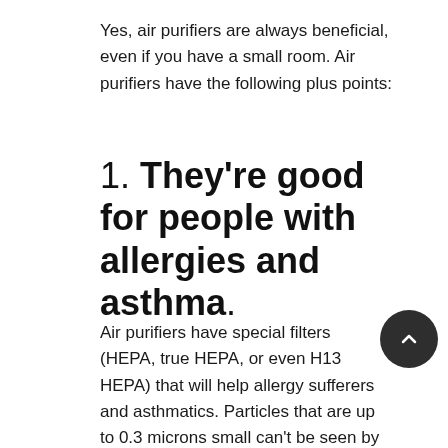Yes, air purifiers are always beneficial, even if you have a small room. Air purifiers have the following plus points:
1. They're good for people with allergies and asthma.
Air purifiers have special filters (HEPA, true HEPA, or even H13 HEPA) that will help allergy sufferers and asthmatics. Particles that are up to 0.3 microns small can't be seen by the naked eye so they're difficult to clean. However,